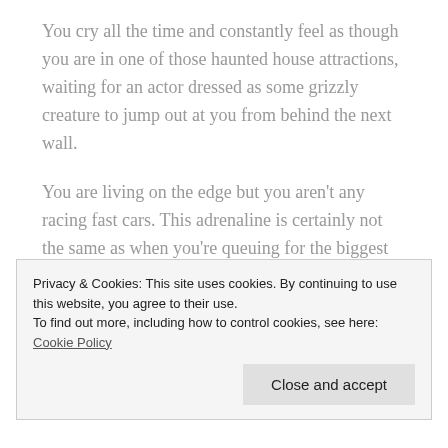You cry all the time and constantly feel as though you are in one of those haunted house attractions, waiting for an actor dressed as some grizzly creature to jump out at you from behind the next wall.
You are living on the edge but you aren't any racing fast cars. This adrenaline is certainly not the same as when you're queuing for the biggest roller coaster at Alton Towers either. It's always th...
Privacy & Cookies: This site uses cookies. By continuing to use this website, you agree to their use.
To find out more, including how to control cookies, see here: Cookie Policy
Close and accept